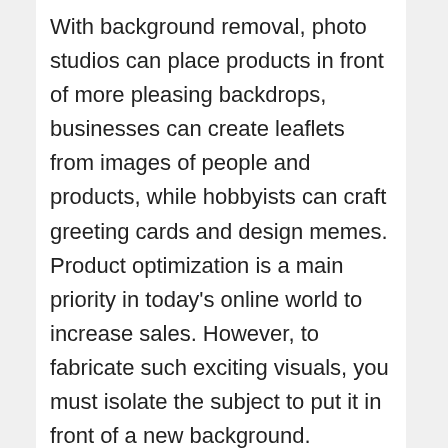With background removal, photo studios can place products in front of more pleasing backdrops, businesses can create leaflets from images of people and products, while hobbyists can craft greeting cards and design memes. Product optimization is a main priority in today's online world to increase sales. However, to fabricate such exciting visuals, you must isolate the subject to put it in front of a new background.
Using photoshop to remove the background of photos is simpler and easier for photos with solid background or more single color, but for photos with more